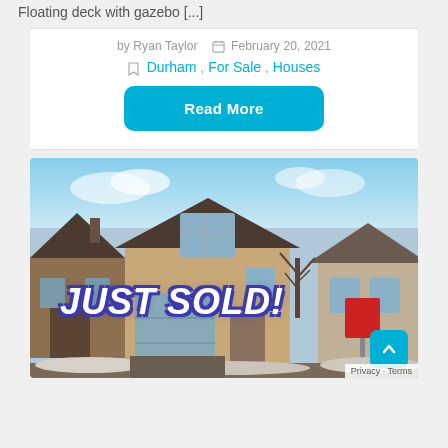Floating deck with gazebo [...]
by Ryan Taylor  February 20, 2021
Durham , For Sale , Houses
Read More
[Figure (photo): Exterior photo of a two-storey brick house in winter with snow on the ground. A large 'JUST SOLD!' text overlay is displayed in bold white letters with blue outline. A real estate sign is visible on the right side of the driveway.]